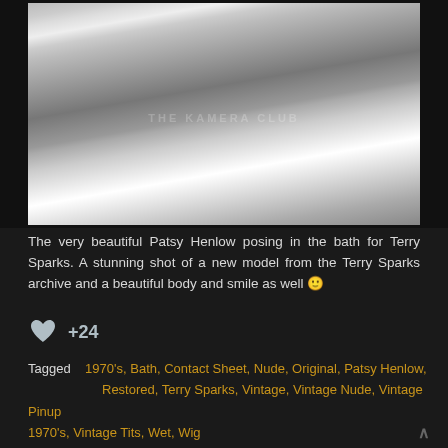[Figure (photo): Black and white photograph of Patsy Henlow posing in a bath, shot by Terry Sparks. Watermark reads THE KAMERA CLUB.]
The very beautiful Patsy Henlow posing in the bath for Terry Sparks. A stunning shot of a new model from the Terry Sparks archive and a beautiful body and smile as well 🙂
+24
Tagged  1970's, Bath, Contact Sheet, Nude, Original, Patsy Henlow, Restored, Terry Sparks, Vintage, Vintage Nude, Vintage Pinup 1970's, Vintage Tits, Wet, Wig